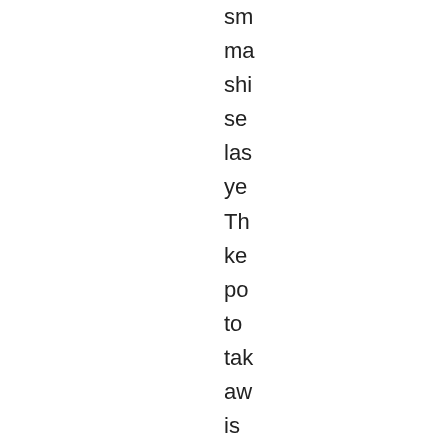sm
ma
shi
se
las
ye

Th
ke
po
to
tak
aw
is
tha
Ap
sa